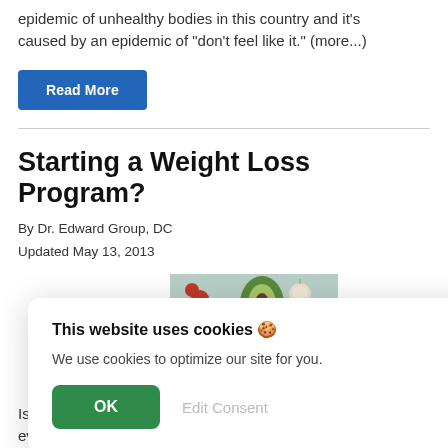epidemic of unhealthy bodies in this country and it's caused by an epidemic of "don't feel like it." (more...)
Read More
Starting a Weight Loss Program?
By Dr. Edward Group, DC
Updated May 13, 2013
[Figure (photo): Photo of healthy foods including avocado, tomatoes, garlic, and spices on a light blue background]
This website uses cookies 🍪
We use cookies to optimize our site for you.
OK  Edit Consent
Is
everyone that follows correct, proven strategies and